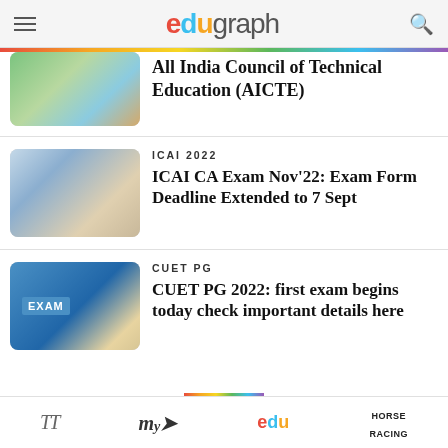edugraph
All India Council of Technical Education (AICTE)
ICAI 2022
ICAI CA Exam Nov'22: Exam Form Deadline Extended to 7 Sept
CUET PG
CUET PG 2022: first exam begins today check important details here
TT  My  edu  HORSE RACING